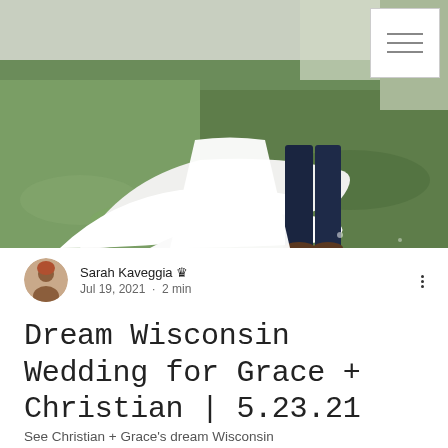[Figure (photo): Wedding photo showing lower half of bride in white flowing dress and groom in dark pants standing on green grass field with wildflowers]
Sarah Kaveggia ♛
Jul 19, 2021 · 2 min
Dream Wisconsin Wedding for Grace + Christian | 5.23.21
See Christian + Grace's dream Wisconsin